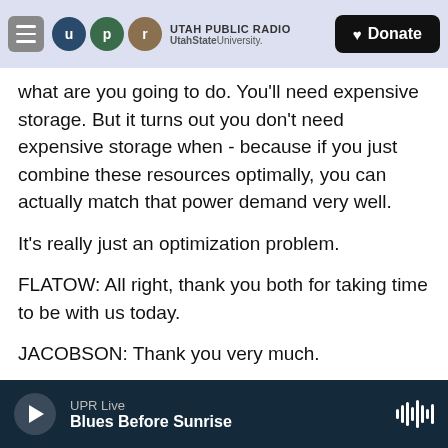[Figure (screenshot): Utah Public Radio website header with logo (U, P, R circles), station name 'UTAH PUBLIC RADIO / UtahStateUniversity.', hamburger menu icon, and Donate button]
what are you going to do. You'll need expensive storage. But it turns out you don't need expensive storage when - because if you just combine these resources optimally, you can actually match that power demand very well.
It's really just an optimization problem.
FLATOW: All right, thank you both for taking time to be with us today.
JACOBSON: Thank you very much.
SALERNO: Thank you.
UPR Live — Blues Before Sunrise